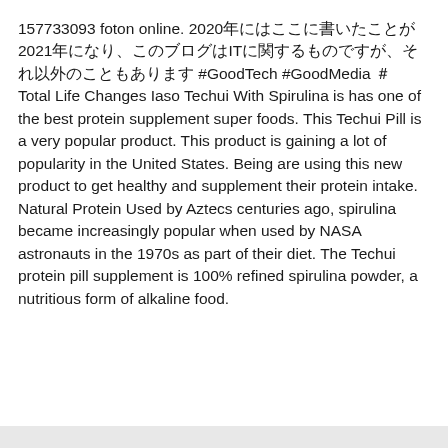157733093 foton online. 2020年にはここに書いたことが2021年になり、このブログはITに関するものですが、それ以外のこともあります #GoodTech #GoodMedia #  Total Life Changes Iaso Techui With Spirulina is has one of the best protein supplement super foods. This Techui Pill is a very popular product. This product is gaining a lot of popularity in the United States. Being are using this new product to get healthy and supplement their protein intake. Natural Protein Used by Aztecs centuries ago, spirulina became increasingly popular when used by NASA astronauts in the 1970s as part of their diet. The Techui protein pill supplement is 100% refined spirulina powder, a nutritious form of alkaline food.